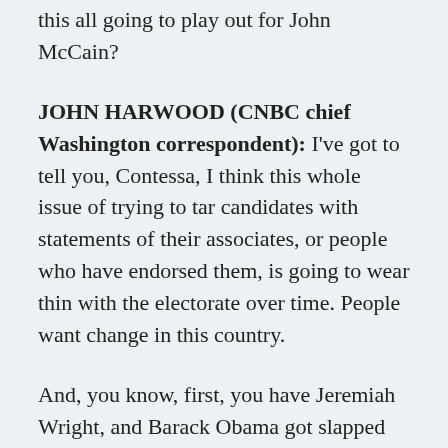this all going to play out for John McCain?
JOHN HARWOOD (CNBC chief Washington correspondent): I've got to tell you, Contessa, I think this whole issue of trying to tar candidates with statements of their associates, or people who have endorsed them, is going to wear thin with the electorate over time. People want change in this country.
And, you know, first, you have Jeremiah Wright, and Barack Obama got slapped around for a while over things that Jeremiah Wright said, not that Barack Obama said, but that Jeremiah Wright said. Then you had Democrats saying, “Oh, wait a minute. McCain’s got one too. John Hagee insulted the Catholic Church.” And then they talk about things that Hagee said -- not things that John McCain said, things that Hagee said. I think people --